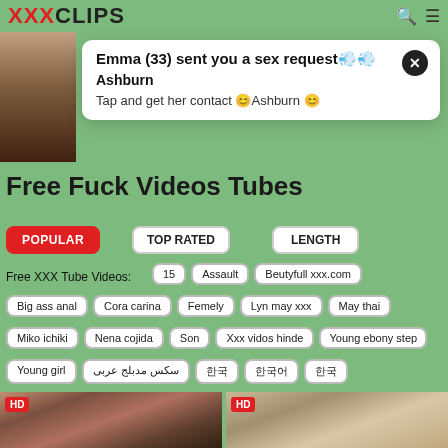XXXCLIPS
[Figure (photo): Partial view of a female figure thumbnail on left side]
Emma (33) sent you a sex request
Ashburn
Tap and get her contact Ashburn
Free Fuck Videos Tubes
POPULAR
TOP RATED
LENGTH
Free XXX Tube Videos:
15
Assault
Beutyfull xxx.com
Big ass anal
Cora carina
Femely
Lyn may xxx
May thai
Miko ichiki
Nena cojida
Son
Xxx vidos hinde
Young ebony step
Young girl
سكس مدبلج عربى
한국
한국어
한국
[Figure (photo): HD video thumbnail showing two women]
[Figure (photo): HD video thumbnail showing a blonde woman on a bed]